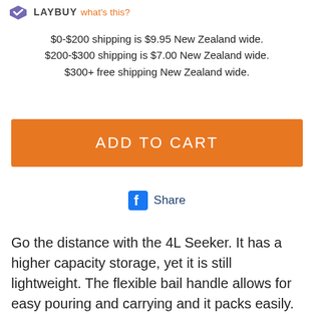[Figure (logo): Laybuy logo with checkmark icon and 'what's this?' link in orange]
$0-$200 shipping is $9.95 New Zealand wide.
$200-$300 shipping is $7.00 New Zealand wide.
$300+ free shipping New Zealand wide.
[Figure (other): Orange ADD TO CART button]
[Figure (other): Facebook Share button with Facebook icon]
Go the distance with the 4L Seeker. It has a higher capacity storage, yet it is still lightweight. The flexible bail handle allows for easy pouring and carrying and it packs easily. The four side tie-